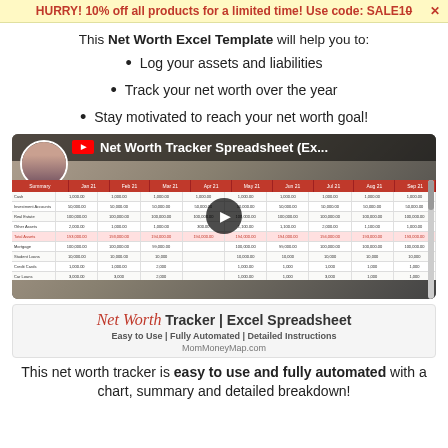HURRY! 10% off all products for a limited time! Use code: SALE10 X
This Net Worth Excel Template will help you to:
Log your assets and liabilities
Track your net worth over the year
Stay motivated to reach your net worth goal!
[Figure (screenshot): YouTube video thumbnail showing Net Worth Tracker Spreadsheet (Ex... with a spreadsheet preview and play button, avatar of couple in top-left corner]
Net Worth Tracker | Excel Spreadsheet
Easy to Use | Fully Automated | Detailed Instructions
MomMoneyMap.com
This net worth tracker is easy to use and fully automated with a chart, summary and detailed breakdown!